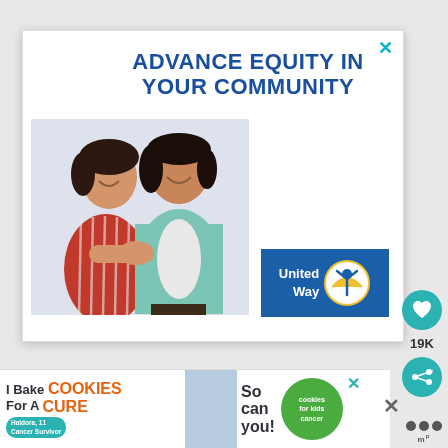[Figure (infographic): United Way advertisement popup. Bold blue text reads 'ADVANCE EQUITY IN YOUR COMMUNITY'. Photo of two Asian women smiling and holding hands/linking arms together. One wears a red striped top, the other a teal cardigan. United Way logo appears in bottom right of the ad.]
ADVANCE EQUITY IN YOUR COMMUNITY
[Figure (logo): United Way logo - blue rectangle with 'United Way' text and circular icon showing a rainbow arc over a human figure with raised arms]
[Figure (infographic): Bottom banner ad: 'I Bake COOKIES For A CURE' with photo of girl cancer survivor Haldora, age 11, and green 'cookies for kids cancer' circle logo. Text 'So can you!' on right.]